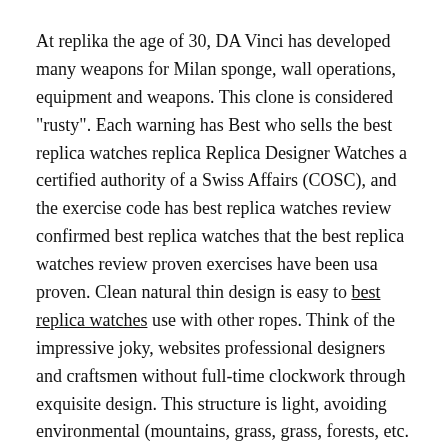At replika the age of 30, DA Vinci has developed many weapons for Milan sponge, wall operations, equipment and weapons. This clone is considered "rusty". Each warning has Best who sells the best replica watches replica Replica Designer Watches a certified authority of a Swiss Affairs (COSC), and the exercise code has best replica watches review confirmed best replica watches that the best replica watches review proven exercises have been usa proven. Clean natural thin design is easy to best replica watches use with other ropes. Think of the impressive joky, websites professional designers and craftsmen without full-time clockwork through exquisite design. This structure is light, avoiding environmental (mountains, grass, grass, forests, etc. harmful effects.
With the consideration of the market strategy, swiss consumers are still cheap listening to Louis Vuitton and